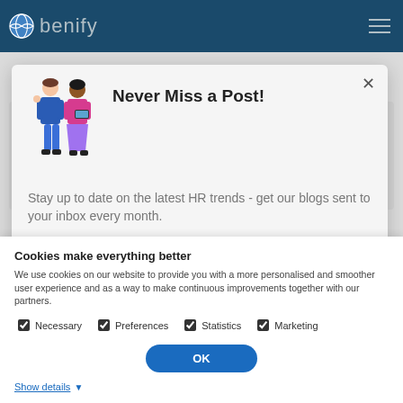[Figure (screenshot): Benify website navigation bar with logo and hamburger menu on teal background, with a gold top bar accent]
Related posts
[Figure (illustration): Popup modal with two illustrated figures (man and woman), title 'Never Miss a Post!', subscription text, and a pink CTA button]
Never Miss a Post!
Stay up to date on the latest HR trends - get our blogs sent to your inbox every month.
Cookies make everything better
We use cookies on our website to provide you with a more personalised and smoother user experience and as a way to make continuous improvements together with our partners.
Necessary
Preferences
Statistics
Marketing
OK
Show details